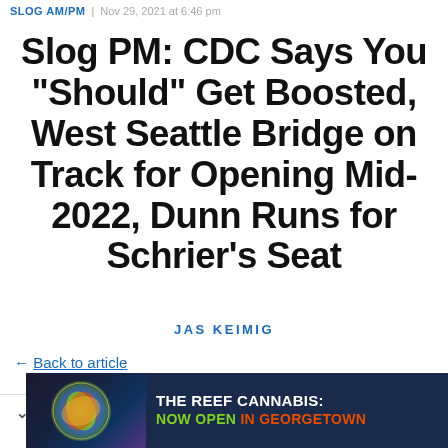SLOG AM/PM | Nov 29, 2021 at 6:46 pm
Slog PM: CDC Says You "Should" Get Boosted, West Seattle Bridge on Track for Opening Mid-2022, Dunn Runs for Schrier's Seat
JAS KEIMIG
← Back to article
Comments
[Figure (infographic): Advertisement banner for The Reef Cannabis: Now Open in Georgetown. Dark navy background with colorful cannabis leaf imagery on left and white/green/orange text on right.]